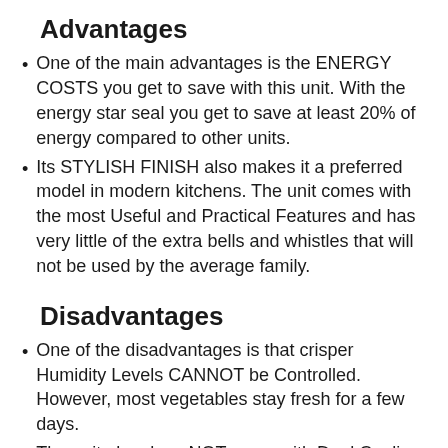Advantages
One of the main advantages is the ENERGY COSTS you get to save with this unit. With the energy star seal you get to save at least 20% of energy compared to other units.
Its STYLISH FINISH also makes it a preferred model in modern kitchens. The unit comes with the most Useful and Practical Features and has very little of the extra bells and whistles that will not be used by the average family.
Disadvantages
One of the disadvantages is that crisper Humidity Levels CANNOT be Controlled. However, most vegetables stay fresh for a few days.
The unit also does NOT come with Dual Cooling Systems and Multiple Air Flow System. The unit comes with a standard design with ONE COOLING SYSTEM which provides less than